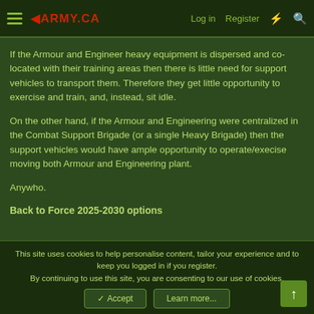1ARMY.CA   Log in   Register
If the Armour and Engineer heavy equipment is dispersed and co-located with their training areas then there is little need for support vehicles to transport them. Therefore they get little opportunity to exercise and train, and, instead, sit idle.
On the other hand, if the Armour and Engineering were centralized in the Combat Support Brigade (or a single Heavy Brigade) then the support vehicles would have ample opportunity to operate/execise moving both Armour and Engineering plant.
Anywho.
Back to Force 2025-2030 options
This site uses cookies to help personalise content, tailor your experience and to keep you logged in if you register.
By continuing to use this site, you are consenting to our use of cookies.